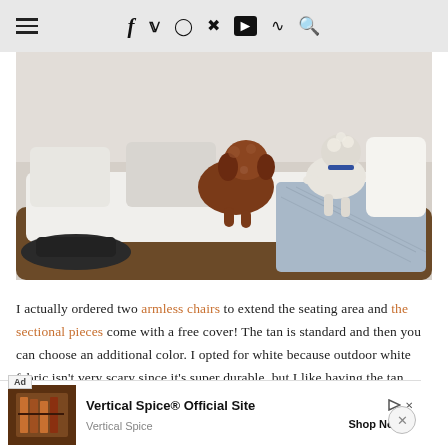≡  f  t  Instagram  Pinterest  YouTube  RSS  🔍
[Figure (photo): Two dogs (one brown/red doodle, one white/cream poodle) standing on a wicker outdoor sectional sofa with white cushions and a light blue/grey throw blanket. A dark round side table is visible to the left.]
I actually ordered two armless chairs to extend the seating area and the sectional pieces come with a free cover! The tan is standard and then you can choose an additional color. I opted for white because outdoor white fabric isn't very scary since it's super durable, but I like having the tan option too. You can't go wrong with classic
[Figure (screenshot): Advertisement banner for Vertical Spice Official Site showing spice rack image, Ad label, play and close icons, and Shop Now button.]